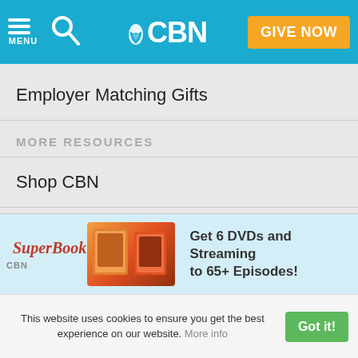CBN - MENU | Search | GIVE NOW
Employer Matching Gifts
MORE RESOURCES
Shop CBN
Bible
myCBN
Apps
[Figure (infographic): Superbook advertisement banner: 'Get 6 DVDs and Streaming to 65+ Episodes!']
This website uses cookies to ensure you get the best experience on our website. More info | Got it!